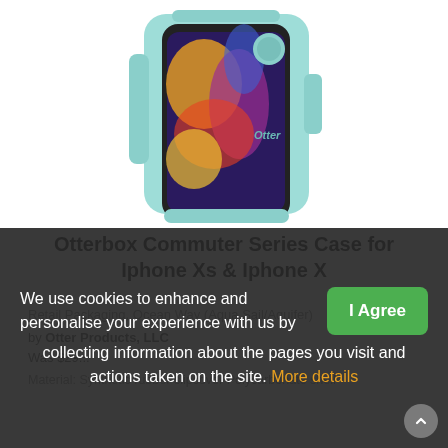[Figure (photo): OtterBox Commuter Series phone case in teal/mint color (Ocean Way - Aqua Sail/Aquifer) for iPhone Xs & iPhone X, showing the phone partially inserted into the case]
Otterbox Commuter Series Case for Iphone Xs & Iphone X
Retail Packaging, Ocean Way (Aqua Sail/Aquifer)
by Otter Products, LLC
Was $29...
Material: Synthetic rubber slipcover Polycarbonate shell
We use cookies to enhance and personalise your experience with us by collecting information about the pages you visit and actions taken on the site. More details